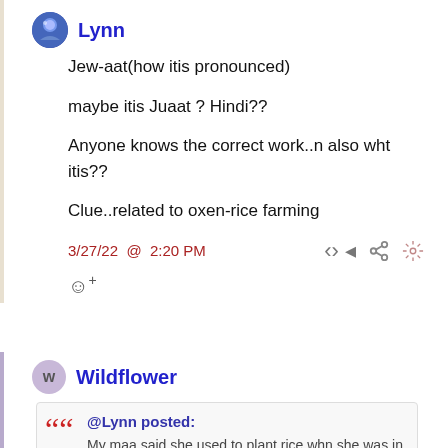Lynn
Jew-aat(how itis pronounced)

maybe itis Juaat ? Hindi??

Anyone knows the correct work..n also wht itis??

Clue..related to oxen-rice farming
3/27/22 @ 2:20 PM
Wildflower
@Lynn posted: My maa said she used to plant rice whn she was in 'lining house' in water to her hips !!